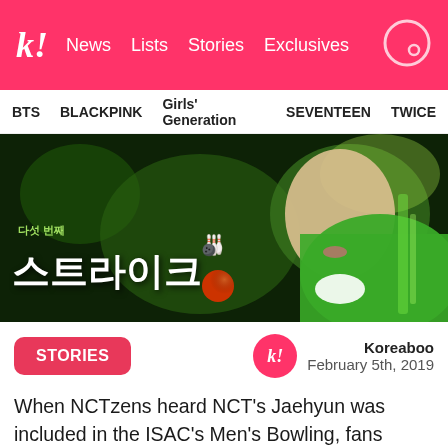k! News Lists Stories Exclusives
BTS BLACKPINK Girls' Generation SEVENTEEN TWICE
[Figure (photo): Korean TV show graphic with large Korean text (스트라이크 meaning Strike) and bowling imagery, with a person in a green jacket visible on the right side]
STORIES
Koreaboo
February 5th, 2019
When NCTzens heard NCT's Jaehyun was included in the ISAC's Men's Bowling, fans wondered how he was going to compete with seasoned bowlers like ASTRO's Cha Eunwoo, and EXO's Chanyeol. Jaehyun has never